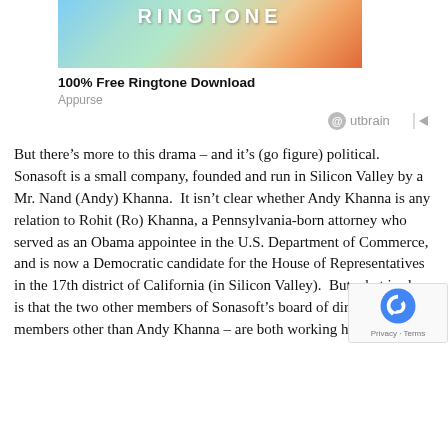[Figure (illustration): Colorful ringtone advertisement banner image with text RINGTONE and gradient colors (blue, teal, orange)]
100% Free Ringtone Download
Appurse
[Figure (logo): Outbrain logo with circular icon and play button]
But there’s more to this drama – and it’s (go figure) political.  Sonasoft is a small company, founded and run in Silicon Valley by a Mr. Nand (Andy) Khanna.  It isn’t clear whether Andy Khanna is any relation to Rohit (Ro) Khanna, a Pennsylvania-born attorney who served as an Obama appointee in the U.S. Department of Commerce, and is now a Democratic candidate for the House of Representatives in the 17th district of California (in Silicon Valley).  But what is clear is that the two other members of Sonasoft’s board of directors – the members other than Andy Khanna – are both working hard to get